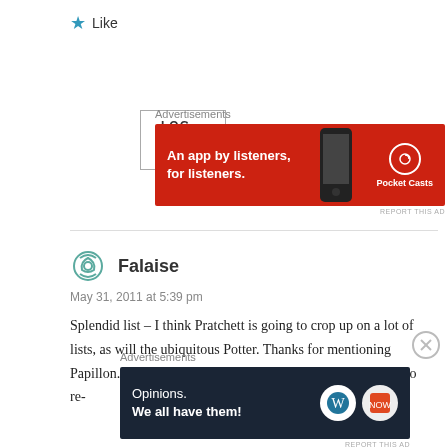★ Like
LOG IN TO REPLY
Advertisements
[Figure (other): Pocket Casts advertisement banner: red background, text 'An app by listeners, for listeners.' with phone image and Pocket Casts logo]
REPORT THIS AD
Falaise
May 31, 2011 at 5:39 pm
Splendid list – I think Pratchett is going to crop up on a lot of lists, as will the ubiquitous Potter. Thanks for mentioning Papillon. I loved this when I read it years ago. I might have to re-
Advertisements
[Figure (other): WordPress advertisement banner: dark background, text 'Opinions. We all have them!' with WordPress and other logos]